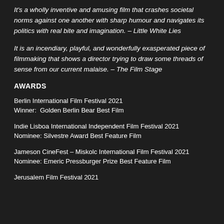It's a wholly inventive and amusing film that crashes societal norms against one another with sharp humour and navigates its politics with real bite and imagination. – Little White Lies
It is an incendiary, playful, and wonderfully exasperated piece of filmmaking that shows a director trying to draw some threads of sense from our current malaise. – The Film Stage
AWARDS
Berlin International Film Festival 2021
Winner:  Golden Berlin Bear Best Film
Indie Lisboa International Independent Film Festival 2021
Nominee: Silvestre Award Best Feature Film
Jameson CineFest – Miskolc International Film Festival 2021
Nominee: Emeric Pressburger Prize Best Feature Film
Jerusalem Film Festival 2021